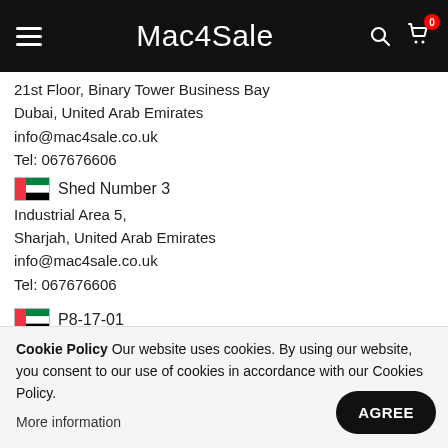Mac4Sale
21st Floor, Binary Tower Business Bay
Dubai, United Arab Emirates
info@mac4sale.co.uk
Tel: 067676606
🇦🇪  Shed Number 3
Industrial Area 5,
Sharjah, United Arab Emirates
info@mac4sale.co.uk
Tel: 067676606
🇦🇪  P8-17-01
Sharjah Airport Freezone
Sharjah, United Arab Emirates
info@mac4sale.co.uk
Tel: 067676606
🇬🇧  Safe Pc Direct Ltd T/A Mac4sale
Unit 10, Curtis Industrial Estate,
Cookie Policy Our website uses cookies. By using our website, you consent to our use of cookies in accordance with our Cookies Policy.
More information